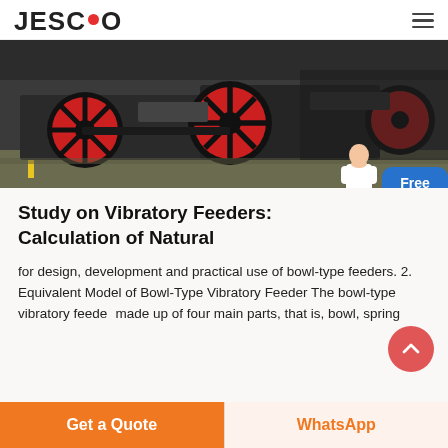JESCO
[Figure (photo): Industrial vibratory feeder machinery with large red and black wheels/flywheels on a factory floor]
Study on Vibratory Feeders: Calculation of Natural
for design, development and practical use of bowl-type feeders. 2. Equivalent Model of Bowl-Type Vibratory Feeder The bowl-type vibratory feeder made up of four main parts, that is, bowl, spring